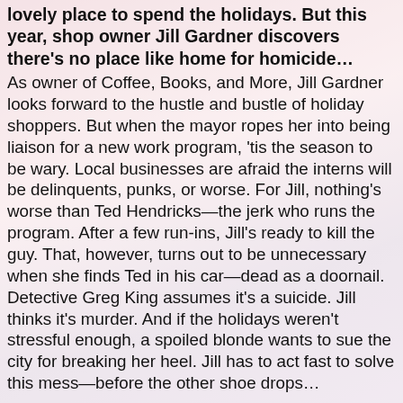lovely place to spend the holidays. But this year, shop owner Jill Gardner discovers there's no place like home for homicide…
As owner of Coffee, Books, and More, Jill Gardner looks forward to the hustle and bustle of holiday shoppers. But when the mayor ropes her into being liaison for a new work program, 'tis the season to be wary. Local businesses are afraid the interns will be delinquents, punks, or worse. For Jill, nothing's worse than Ted Hendricks—the jerk who runs the program. After a few run-ins, Jill's ready to kill the guy. That, however, turns out to be unnecessary when she finds Ted in his car—dead as a doornail. Detective Greg King assumes it's a suicide. Jill thinks it's murder. And if the holidays weren't stressful enough, a spoiled blonde wants to sue the city for breaking her heel. Jill has to act fast to solve this mess—before the other shoe drops…
Buy Links: Amazon | Barnes | iBooks | Kobo
Author info